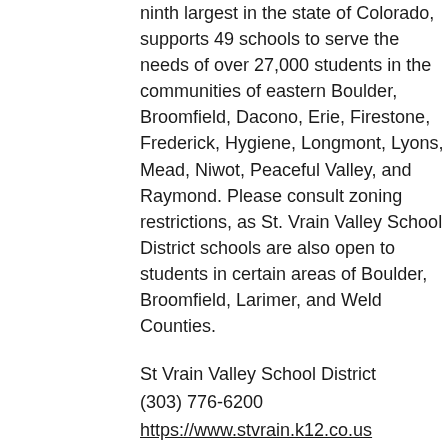ninth largest in the state of Colorado, supports 49 schools to serve the needs of over 27,000 students in the communities of eastern Boulder, Broomfield, Dacono, Erie, Firestone, Frederick, Hygiene, Longmont, Lyons, Mead, Niwot, Peaceful Valley, and Raymond. Please consult zoning restrictions, as St. Vrain Valley School District schools are also open to students in certain areas of Boulder, Broomfield, Larimer, and Weld Counties.
St Vrain Valley School District
(303) 776-6200
https://www.stvrain.k12.co.us
Maps and Boundaries
https://www.stvrain.k12.co.us/boundaries/
Gifted and Talented Program
https://www.stvrain.k12.co.us/academicsProgra...